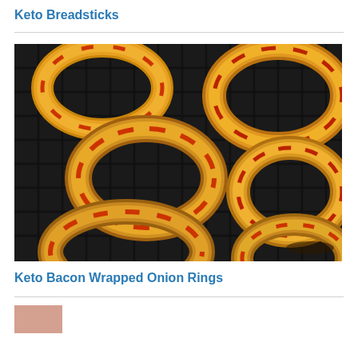Keto Breadsticks
[Figure (photo): Photo of bacon-wrapped onion rings on a wire rack cooling grid, showing multiple golden-brown spiral-wrapped rings arranged on a dark wire mesh baking rack.]
Keto Bacon Wrapped Onion Rings